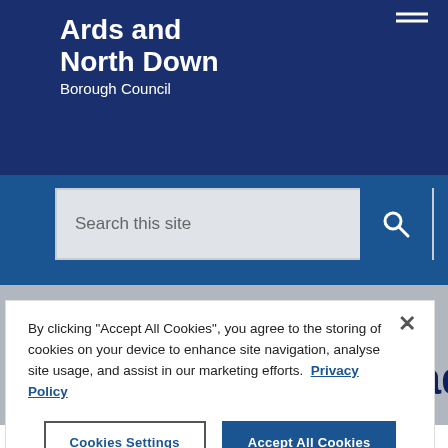Ards and North Down Borough Council
[Figure (screenshot): Search bar with placeholder text 'Search this site' and a blue search button with magnifying glass icon]
Theo Randall Heads
By clicking "Accept All Cookies", you agree to the storing of cookies on your device to enhance site navigation, analyse site usage, and assist in our marketing efforts. Privacy Policy
Cookies Settings  Accept All Cookies